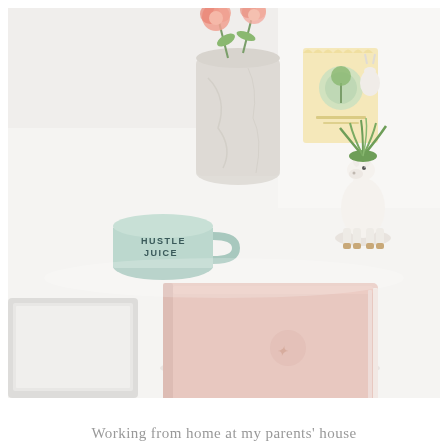[Figure (photo): A flat lay / desk scene on a white surface. Items include: a mint/sage colored ceramic mug with 'HUSTLE JUICE' text, a marble cylindrical vase with pink ranunculus flowers, a small greeting card, a white llama ceramic figurine holding a spiky air plant, a pink notebook/planner in the foreground, and what appears to be a laptop partially visible on the left edge.]
Working from home at my parents' house